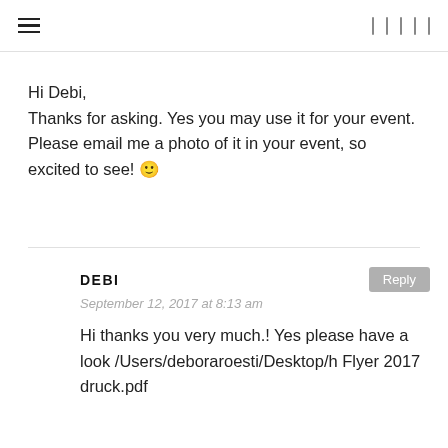navigation header with hamburger menu and icons
Hi Debi,
Thanks for asking. Yes you may use it for your event. Please email me a photo of it in your event, so excited to see! 🙂
DEBI
September 12, 2017 at 8:13 am
Hi thanks you very much.! Yes please have a look /Users/deboraroesti/Desktop/h Flyer 2017 druck.pdf